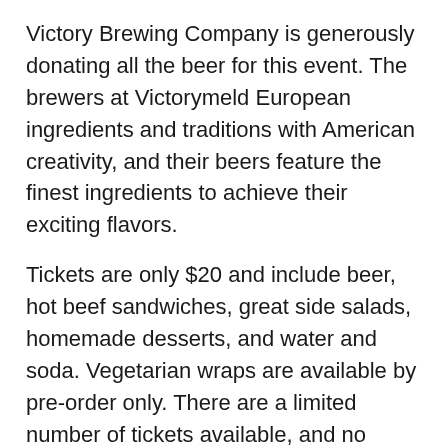Victory Brewing Company is generously donating all the beer for this event.  The brewers at Victorymeld European ingredients and traditions with American creativity, and their beers feature the finest ingredients to achieve their exciting flavors.
Tickets are only $20 and include beer, hot beef sandwiches, great side salads, homemade desserts, and water and soda.  Vegetarian wraps are available by pre-order only.  There are a limited number of tickets available, and no tickets will be available at the door.  Tickets can be purchased in person at ArtFusion (254 E. High St.), on their website at artfusion19464.org, or over the phone at 610-326-2506.
All proceeds will support ArtFusion's upcoming special educational exhibit When We Were Soldiers: Personal...